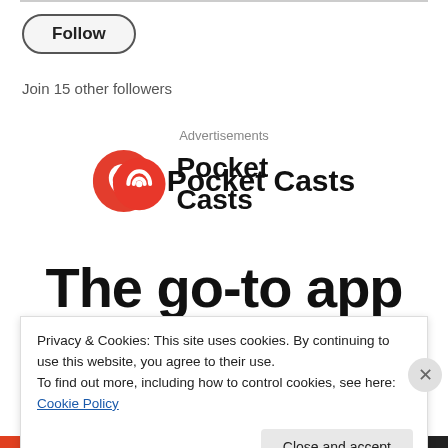Follow
Join 15 other followers
Advertisements
[Figure (logo): Pocket Casts logo with red circular icon and bold text 'Pocket Casts']
The go-to app
Privacy & Cookies: This site uses cookies. By continuing to use this website, you agree to their use.
To find out more, including how to control cookies, see here: Cookie Policy
Close and accept